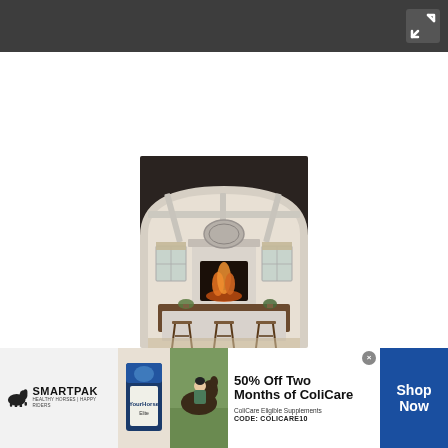[Figure (screenshot): Dark gray top navigation/toolbar bar with a close/expand icon (X with arrows) in the top-right corner]
[Figure (photo): Interior design photo showing a kitchen/living area viewed through an arched doorway. Features a kitchen island with bar stools, a lit fireplace in the background, decorative round wall art, beamed ceiling, and potted plants.]
[Figure (infographic): SmartPak advertisement banner. Left: SmartPak logo with horse icon and tagline 'HEALTHY HORSES | HAPPY RIDERS'. Center: product images and horse/rider photo. Text: '50% Off Two Months of ColiCare', 'ColiCare Eligible Supplements', 'CODE: COLICARE10'. Right: Blue 'Shop Now' button.]